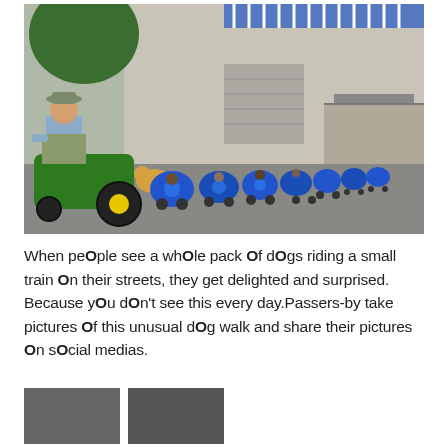[Figure (photo): An elderly man in camouflage overalls and a hat sits on a green John Deere riding mower, pulling a long train of blue barrel-shaped carts on wheels, each containing a dog. The scene is in a parking lot with a building visible in the background.]
When peOple see a whOle pack Of dOgs riding a small train On their streets, they get delighted and surprised. Because yOu dOn't see this every day.Passers-by take pictures Of this unusual dOg walk and share their pictures On sOcial medias.